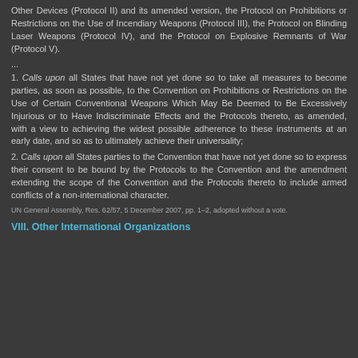Other Devices (Protocol II) and its amended version, the Protocol on Prohibitions or Restrictions on the Use of Incendiary Weapons (Protocol III), the Protocol on Blinding Laser Weapons (Protocol IV), and the Protocol on Explosive Remnants of War (Protocol V).
...
1. Calls upon all States that have not yet done so to take all measures to become parties, as soon as possible, to the Convention on Prohibitions or Restrictions on the Use of Certain Conventional Weapons Which May Be Deemed to Be Excessively Injurious or to Have Indiscriminate Effects and the Protocols thereto, as amended, with a view to achieving the widest possible adherence to these instruments at an early date, and so as to ultimately achieve their universality;
2. Calls upon all States parties to the Convention that have not yet done so to express their consent to be bound by the Protocols to the Convention and the amendment extending the scope of the Convention and the Protocols thereto to include armed conflicts of a non-international character.
UN General Assembly, Res. 62/57, 5 December 2007, pp. 1–2, adopted without a vote.
VIII. Other International Organizations